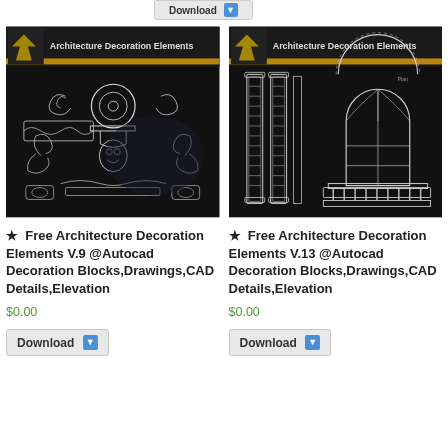[Figure (screenshot): Download button at top center, partially visible]
[Figure (illustration): Architecture Decoration Elements V.9 – black background with white CAD ornamental decoration elements including scrollwork, medallions, and floral motifs]
[Figure (illustration): Architecture Decoration Elements V.13 – black background with white CAD architectural elements including columns, arched window, and balustrade]
★  Free Architecture Decoration Elements V.9 @Autocad Decoration Blocks,Drawings,CAD Details,Elevation
★  Free Architecture Decoration Elements V.13 @Autocad Decoration Blocks,Drawings,CAD Details,Elevation
$0.00
$0.00